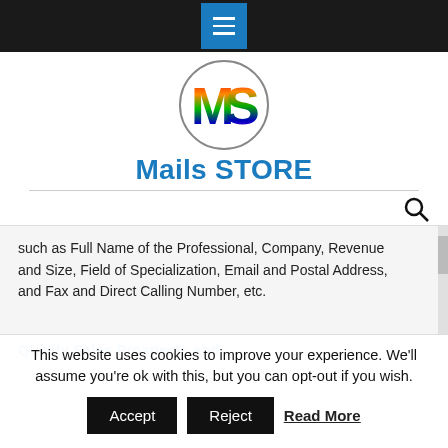[Figure (logo): Navigation bar with hamburger menu button in blue square on dark background]
[Figure (logo): MS logo in colorful rainbow letters inside a circle]
Mails STORE
such as Full Name of the Professional, Company, Revenue and Size, Field of Specialization, Email and Postal Address, and Fax and Direct Calling Number, etc.
Quality Sales Prospects and
This website uses cookies to improve your experience. We'll assume you're ok with this, but you can opt-out if you wish.
Accept   Reject   Read More